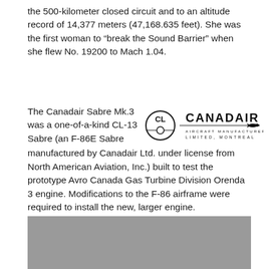the 500-kilometer closed circuit and to an altitude record of 14,377 meters (47,168.635 feet). She was the first woman to “break the Sound Barrier” when she flew No. 19200 to Mach 1.04.
The Canadair Sabre Mk.3 was a one-of-a-kind CL-13 Sabre (an F-86E Sabre manufactured by Canadair Ltd. under license from North American Aviation, Inc.) built to test the prototype Avro Canada Gas Turbine Division Orenda 3 engine. Modifications to the F-86 airframe were required to install the new, larger engine.
[Figure (logo): Canadair Aircraft Manufacturers Limited, Montreal logo with CL monogram and aircraft silhouette]
[Figure (photo): Black and white photograph, partially visible, gray background]